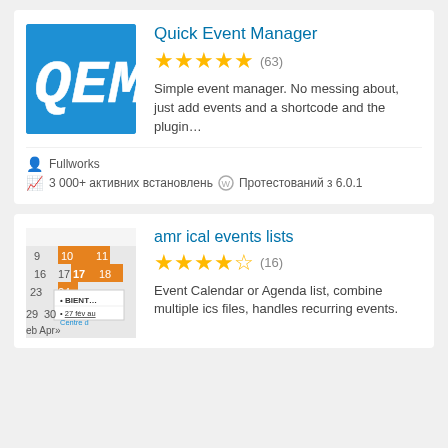[Figure (logo): Quick Event Manager plugin logo - blue background with white QEM text]
Quick Event Manager
★★★★★ (63)
Simple event manager. No messing about, just add events and a shortcode and the plugin...
Fullworks
3 000+ активних встановлень  Протестований з 6.0.1
[Figure (screenshot): amr ical events lists plugin screenshot showing a calendar with orange date highlights and event list items]
amr ical events lists
★★★★½ (16)
Event Calendar or Agenda list, combine multiple ics files, handles recurring events.